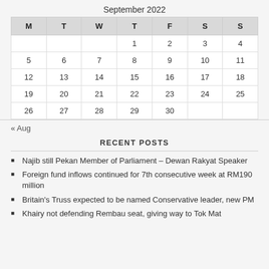September 2022
| M | T | W | T | F | S | S |
| --- | --- | --- | --- | --- | --- | --- |
|  |  |  | 1 | 2 | 3 | 4 |
| 5 | 6 | 7 | 8 | 9 | 10 | 11 |
| 12 | 13 | 14 | 15 | 16 | 17 | 18 |
| 19 | 20 | 21 | 22 | 23 | 24 | 25 |
| 26 | 27 | 28 | 29 | 30 |  |  |
« Aug
RECENT POSTS
Najib still Pekan Member of Parliament – Dewan Rakyat Speaker
Foreign fund inflows continued for 7th consecutive week at RM190 million
Britain's Truss expected to be named Conservative leader, new PM
Khairy not defending Rembau seat, giving way to Tok Mat